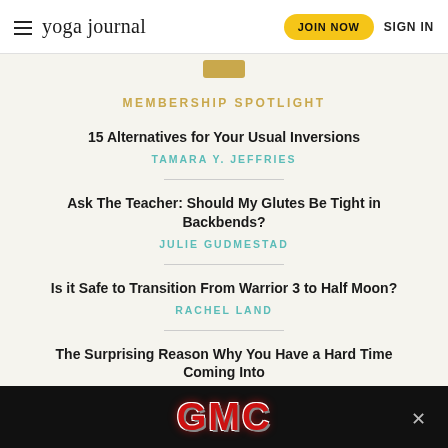yoga journal | JOIN NOW | SIGN IN
MEMBERSHIP SPOTLIGHT
15 Alternatives for Your Usual Inversions
TAMARA Y. JEFFRIES
Ask The Teacher: Should My Glutes Be Tight in Backbends?
JULIE GUDMESTAD
Is it Safe to Transition From Warrior 3 to Half Moon?
RACHEL LAND
The Surprising Reason Why You Have a Hard Time Coming Into
[Figure (screenshot): GMC advertisement banner in black background with red GMC logo text]